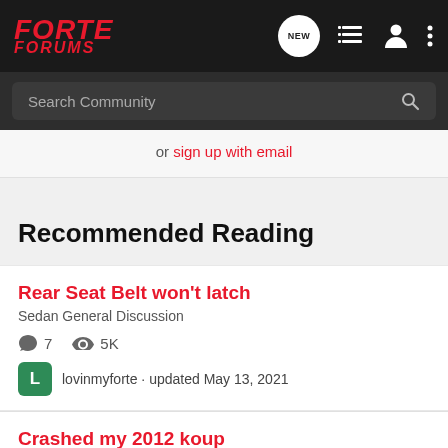FORTE FORUMS — navigation bar with logo, NEW button, list icon, user icon, menu icon
Search Community
or sign up with email
Recommended Reading
Rear Seat Belt won't latch | Sedan General Discussion | 7 comments | 5K views | lovinmyforte · updated May 13, 2021
Crashed my 2012 koup | Koup General Discussion